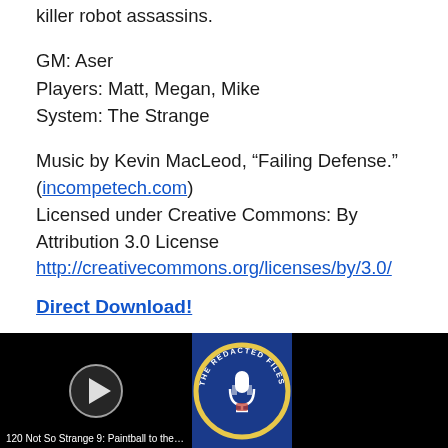...distilled into paintball, storytelling, and avoiding killer robot assassins.
GM: Aser
Players: Matt, Megan, Mike
System: The Strange
Music by Kevin MacLeod, “Failing Defense.” (incompetech.com)
Licensed under Creative Commons: By Attribution 3.0 License
http://creativecommons.org/licenses/by/3.0/
Direct Download!
[Figure (screenshot): Media player thumbnail showing a podcast episode titled '120 Not So Strange 9: Paintball to the Knee [The Strange]' with a play button on the left, The Redacted Files circular badge logo in the center, and a black video panel on the right.]